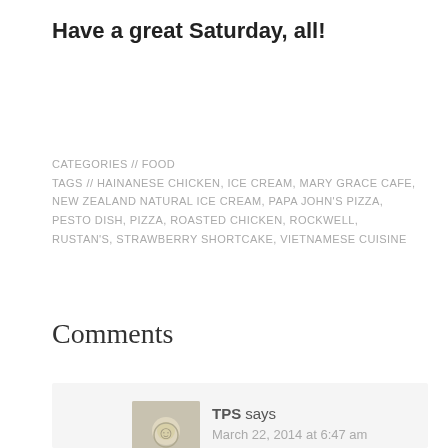Have a great Saturday, all!
CATEGORIES // FOOD
TAGS // HAINANESE CHICKEN, ICE CREAM, MARY GRACE CAFE, NEW ZEALAND NATURAL ICE CREAM, PAPA JOHN'S PIZZA, PESTO DISH, PIZZA, ROASTED CHICKEN, ROCKWELL, RUSTAN'S, STRAWBERRY SHORTCAKE, VIETNAMESE CUISINE
Comments
TPS says
March 22, 2014 at 6:47 am